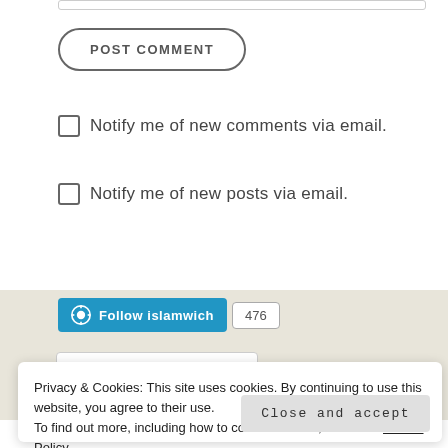[Figure (screenshot): Top portion of a comment form input field (text area border visible at top)]
POST COMMENT
Notify me of new comments via email.
Notify me of new posts via email.
[Figure (screenshot): WordPress Follow widget with blue 'Follow islamwich' button and follower count badge showing 476]
Privacy & Cookies: This site uses cookies. By continuing to use this website, you agree to their use.
To find out more, including how to control cookies, see here: Cookie Policy
Close and accept